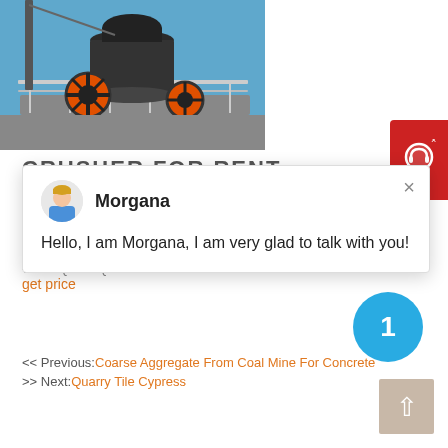[Figure (photo): Industrial crusher machine with orange flywheel, set against a blue sky. Large mechanical equipment for rent in Malaysia.]
CRUSHER FOR RENT MALAYSIA
[Figure (screenshot): Live chat popup with avatar of agent named Morgana. Close button (×) in top right. Message reads: Hello, I am Morgana, I am very glad to talk with you!]
Watch Queue Queue
get price
1
<< Previous:Coarse Aggregate From Coal Mine For Concrete
>> Next:Quarry Tile Cypress